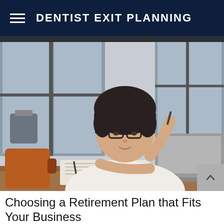DENTIST EXIT PLANNING
[Figure (photo): A middle-aged woman with short dark hair and glasses sits at a table, holding a pen thoughtfully while looking at an open laptop. An open notebook and an orange mug are visible on the table. Kitchen cabinets and a window are in the background.]
Choosing a Retirement Plan that Fits Your Business